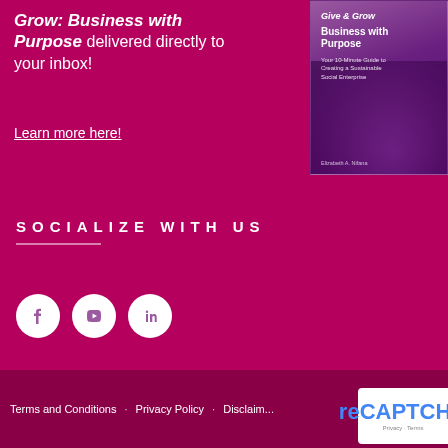Grow: Business with Purpose delivered directly to your inbox!
Learn more here!
[Figure (illustration): Book cover for 'Give & Grow Business with Purpose: Your 10-Minute Guide to Creating a Sustainable Social Enterprise' by Elizabeth A. Nifana, with purple floral background]
SOCIALIZE WITH US
[Figure (infographic): Three social media icons (Facebook, YouTube, LinkedIn) as white circles on magenta background]
Terms and Conditions · Privacy Policy · Disclaim...